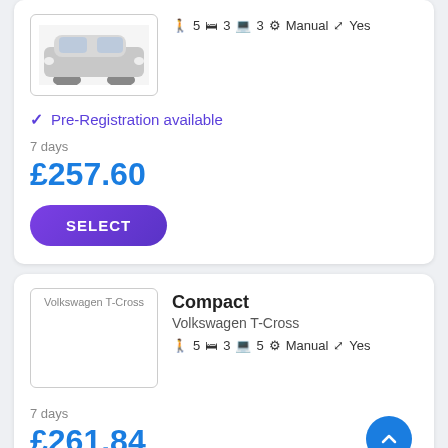[Figure (photo): Car image placeholder (top card, partial view of silver/grey car)]
✦ 5  ≡ 3  ▦ 3  ✦ Manual  ✦ Yes
✓ Pre-Registration available
7 days
£257.60
SELECT
[Figure (photo): Volkswagen T-Cross car image placeholder]
Compact
Volkswagen T-Cross
✦ 5  ≡ 3  ▦ 5  ✦ Manual  ✦ Yes
7 days
£261.84